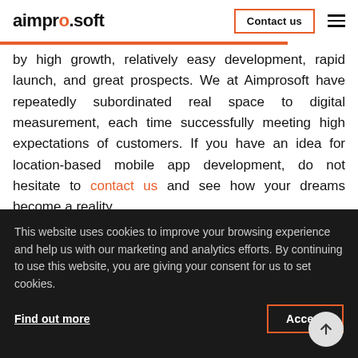aimprosoft — Contact us
by high growth, relatively easy development, rapid launch, and great prospects. We at Aimprosoft have repeatedly subordinated real space to digital measurement, each time successfully meeting high expectations of customers. If you have an idea for location-based mobile app development, do not hesitate to contact us and see how your dreams become a reality.
FAQ
This website uses cookies to improve your browsing experience and help us with our marketing and analytics efforts. By continuing to use this website, you are giving your consent for us to set cookies.
Find out more
Accept